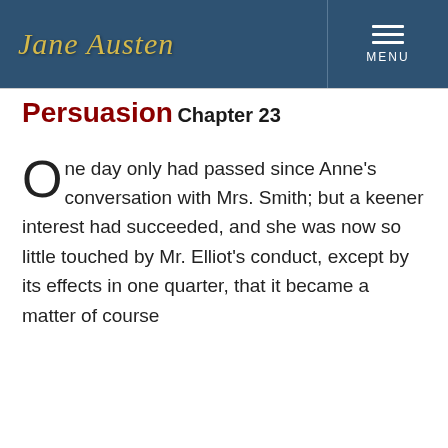Jane Austen | MENU
Persuasion
Chapter 23
One day only had passed since Anne's conversation with Mrs. Smith; but a keener interest had succeeded, and she was now so little touched by Mr. Elliot's conduct, except by its effects in one quarter, that it became a matter of course